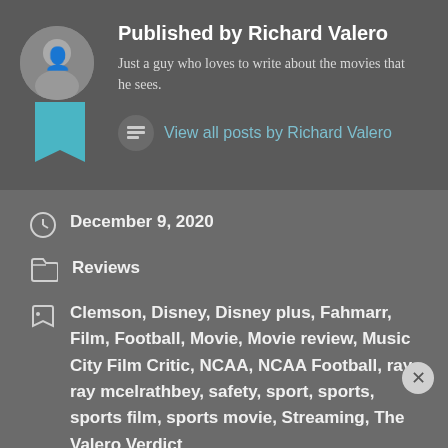Published by Richard Valero
Just a guy who loves to write about the movies that he sees.
View all posts by Richard Valero
December 9, 2020
Reviews
Clemson, Disney, Disney plus, Fahmarr, Film, Football, Movie, Movie review, Music City Film Critic, NCAA, NCAA Football, ray ray mcelrathbey, safety, sport, sports, sports film, sports movie, Streaming, The Valero Verdict
Advertisements
KISS BORING
SHOP NOW
Follow